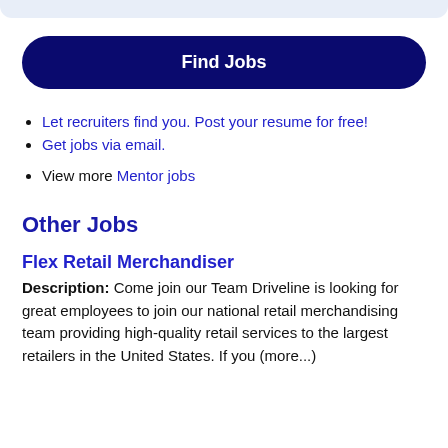Let recruiters find you. Post your resume for free!
Get jobs via email.
View more Mentor jobs
Other Jobs
Flex Retail Merchandiser
Description: Come join our Team Driveline is looking for great employees to join our national retail merchandising team providing high-quality retail services to the largest retailers in the United States. If you (more...)